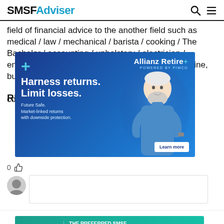SMSFAdviser
field of financial advice to the another field such as medical / law / mechanical / barista / cooking / The Bachelor / accounting / upholstery / electrician / engineering / teaching / taxidermy etc etc. That's fine, but you can't allow for me to understand that someone's doing it, it's obviously complicated and consuming the time to provide ...
[Figure (infographic): Allianz Retire+ powered by PIMCO advertisement. Teal/blue background with a smiling older man. Headline: Harness returns. Limit losses. Subtext: Future Safe. Market-linked returns with downside protection. Learn more button.]
[Figure (infographic): Aquila Super advertisement with teal background. THE PREFERRED SMSF AUDIT EXPERTS. All Australian (no offshoring)]
RELA